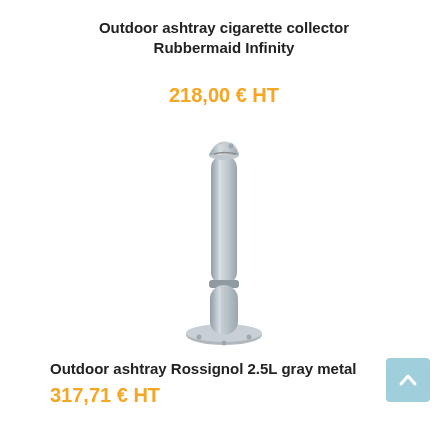Outdoor ashtray cigarette collector
Rubbermaid Infinity
218,00 € HT
[Figure (photo): Tall slim cylindrical outdoor ashtray on a round base, gray metal, Rossignol 2.5L]
Outdoor ashtray Rossignol 2.5L gray metal
317,71 € HT